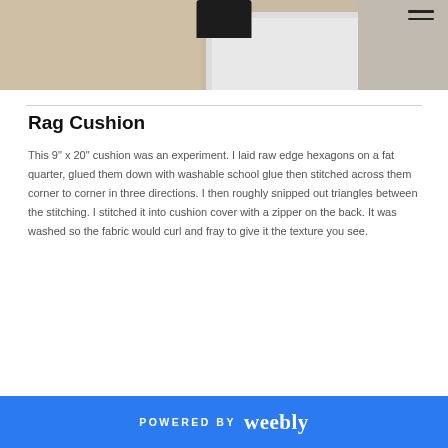[Figure (photo): Partial photo of a rag cushion or room interior, showing a cream/tan wall, white window frame, and a dark object at top center. The photo is cropped at the bottom of this view.]
Rag Cushion
This 9" x 20" cushion was an experiment. I laid raw edge hexagons on a fat quarter, glued them down with washable school glue then stitched across them corner to corner in three directions. I then roughly snipped out triangles between the stitching. I stitched it into cushion cover with a zipper on the back. It was washed so the fabric would curl and fray to give it the texture you see.
POWERED BY weebly